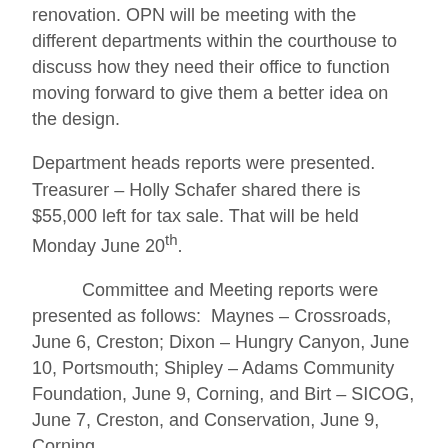renovation. OPN will be meeting with the different departments within the courthouse to discuss how they need their office to function moving forward to give them a better idea on the design.
Department heads reports were presented. Treasurer – Holly Schafer shared there is $55,000 left for tax sale. That will be held Monday June 20th.
Committee and Meeting reports were presented as follows:  Maynes – Crossroads, June 6, Creston; Dixon – Hungry Canyon, June 10, Portsmouth; Shipley – Adams Community Foundation, June 9, Corning, and Birt – SICOG, June 7, Creston, and Conservation, June 9, Corning.
Akin moved, seconded by Maynes to adjourn at 4:10 pm.  All supervisors voted aye.  Motion carried.
ATTEST: Doug Birt, Chairperson, Adams County